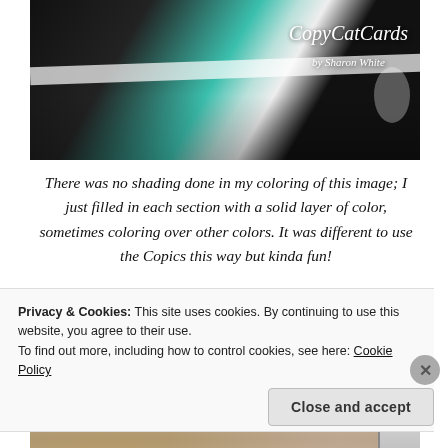[Figure (photo): Close-up photo of a handmade card with teal/turquoise strip and black background, with CopyCatCards by Sharon White logo overlay]
There was no shading done in my coloring of this image; I just filled in each section with a solid layer of color, sometimes coloring over other colors.  It was different to use the Copics this way but kinda fun!
[Figure (photo): Photo showing colorful handmade cards with bold floral artwork colored with Copics markers in orange, pink, teal colors]
Privacy & Cookies: This site uses cookies. By continuing to use this website, you agree to their use.
To find out more, including how to control cookies, see here: Cookie Policy